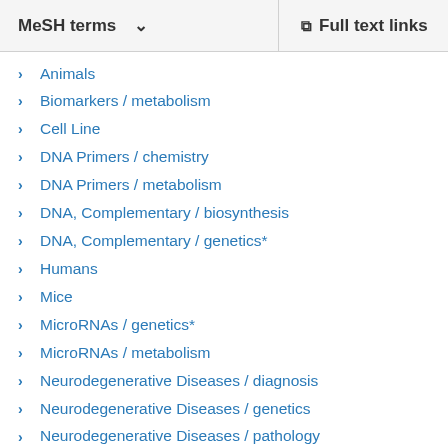MeSH terms   Full text links
Animals
Biomarkers / metabolism
Cell Line
DNA Primers / chemistry
DNA Primers / metabolism
DNA, Complementary / biosynthesis
DNA, Complementary / genetics*
Humans
Mice
MicroRNAs / genetics*
MicroRNAs / metabolism
Neurodegenerative Diseases / diagnosis
Neurodegenerative Diseases / genetics
Neurodegenerative Diseases / pathology
Neurons / metabolism*
Neurons / pathology